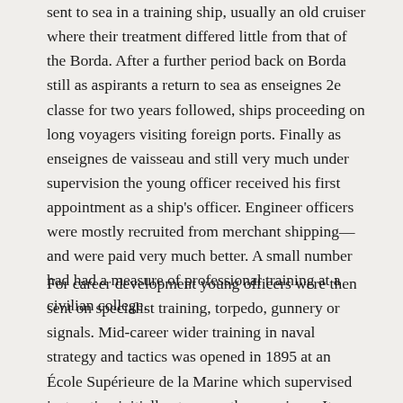sent to sea in a training ship, usually an old cruiser where their treatment differed little from that of the Borda. After a further period back on Borda still as aspirants a return to sea as enseignes 2e classe for two years followed, ships proceeding on long voyagers visiting foreign ports. Finally as enseignes de vaisseau and still very much under supervision the young officer received his first appointment as a ship's officer. Engineer officers were mostly recruited from merchant shipping—and were paid very much better. A small number had had a measure of professional training at a civilian college.
For career development young officers were then sent on specialist training, torpedo, gunnery or signals. Mid-career wider training in naval strategy and tactics was opened in 1895 at an École Supérieure de la Marine which supervised instruction initially at sea on three cruisers. It was, however, very quickly replaced, following a